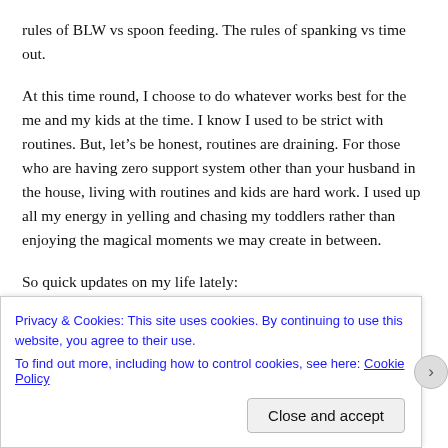rules of BLW vs spoon feeding. The rules of spanking vs time out.
At this time round, I choose to do whatever works best for the me and my kids at the time. I know I used to be strict with routines. But, let’s be honest, routines are draining. For those who are having zero support system other than your husband in the house, living with routines and kids are hard work. I used up all my energy in yelling and chasing my toddlers rather than enjoying the magical moments we may create in between.
So quick updates on my life lately:
Privacy & Cookies: This site uses cookies. By continuing to use this website, you agree to their use.
To find out more, including how to control cookies, see here: Cookie Policy
Close and accept